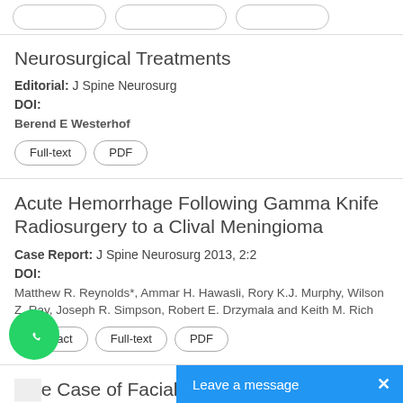[Figure (other): Top bar with three pill-shaped buttons (partially visible)]
Neurosurgical Treatments
Editorial: J Spine Neurosurg
DOI:
Berend E Westerhof
Full-text  PDF
Acute Hemorrhage Following Gamma Knife Radiosurgery to a Clival Meningioma
Case Report: J Spine Neurosurg 2013, 2:2
DOI:
Matthew R. Reynolds*, Ammar H. Hawasli, Rory K.J. Murphy, Wilson Z. Ray, Joseph R. Simpson, Robert E. Drzymala and Keith M. Rich
Abstract  Full-text  PDF
e Case of Facial Diplegia:A Diagnostic Dilemma
Case Report: J Spine Neurosurg 20